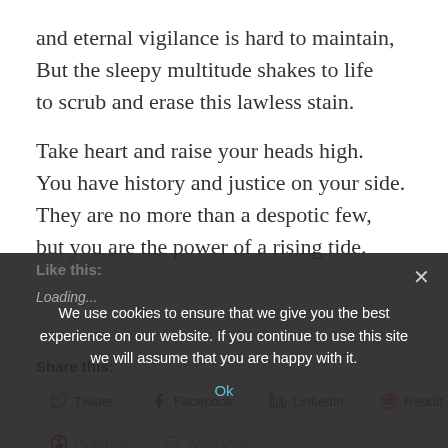and eternal vigilance is hard to maintain,
But the sleepy multitude shakes to life
to scrub and erase this lawless stain.

Take heart and raise your heads high.
You have history and justice on your side.
They are no more than a despotic few,
but you are the power of a rising tide.
Share this:
Twitter  Facebook  LinkedIn  Reddit
Pinterest  WhatsApp
Like this:
Loading...
We use cookies to ensure that we give you the best experience on our website. If you continue to use this site we will assume that you are happy with it.
Ok